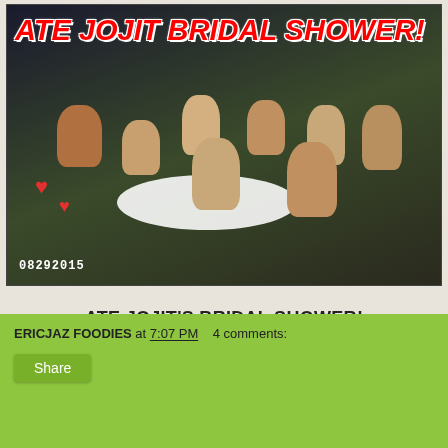[Figure (photo): Group photo of women at a bridal shower party seated around a white-tablecloth round table. Text overlay reads 'ATE JOJIT BRIDAL SHOWER!' in red bold italic letters. Date stamp '08292015' in lower left. Red heart decorations visible on left side.]
ATE JOJIT'S BRIDAL SHOWER!
ERICJAZ FOODIES at 7:07 PM    4 comments:
Share